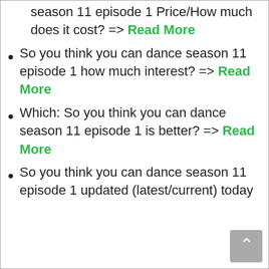season 11 episode 1 Price/How much does it cost? => Read More
So you think you can dance season 11 episode 1 how much interest? => Read More
Which: So you think you can dance season 11 episode 1 is better? => Read More
So you think you can dance season 11 episode 1 updated (latest/current) today